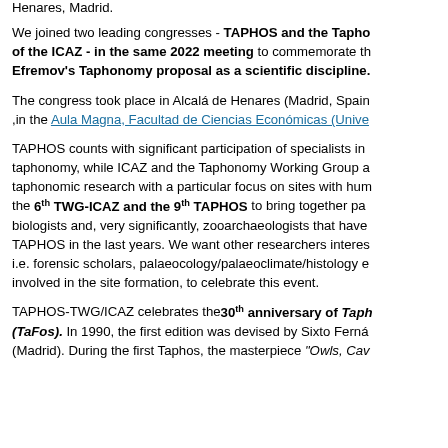Henares, Madrid.
We joined two leading congresses - TAPHOS and the Tapho... of the ICAZ - in the same 2022 meeting to commemorate th... Efremov's Taphonomy proposal as a scientific discipline.
The congress took place in Alcalá de Henares (Madrid, Spain), in the Aula Magna, Facultad de Ciencias Económicas (Unive...
TAPHOS counts with significant participation of specialists in taphonomy, while ICAZ and the Taphonomy Working Group a... taphonomic research with a particular focus on sites with hum... the 6th TWG-ICAZ and the 9th TAPHOS to bring together pa... biologists and, very significantly, zooarchaeologists that have... TAPHOS in the last years. We want other researchers interes... i.e. forensic scholars, palaeocology/palaeoclimate/histology e... involved in the site formation, to celebrate this event.
TAPHOS-TWG/ICAZ celebrates the 30th anniversary of Tap... (TaFos). In 1990, the first edition was devised by Sixto Ferná... (Madrid). During the first Taphos, the masterpiece "Owls, Cav...